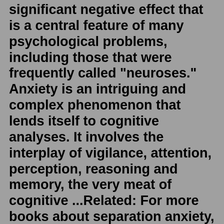significant negative effect that is a central feature of many psychological problems, including those that were frequently called "neuroses." Anxiety is an intriguing and complex phenomenon that lends itself to cognitive analyses. It involves the interplay of vigilance, attention, perception, reasoning and memory, the very meat of cognitive ...Related: For more books about separation anxiety, check out these posts: Sleeping Should be Easy: 11 Children's Books About Separation Anxiety. Books for Littles: The Best Children's Picture Books to Calm Separation Anxiety. Fear of the DoctorWorrier State: Risk, Anxiety and Moral Panic in South Africa (Manchester University Press, 2022) looks at the pervasive culture of fear in South Africa. It reveals how narratives of fear manifest in contemporary media forms and the people they serve, and how these are impacted by race, class, gender, space and identity. big four agatha christie FOR TEENS. Stress 101 - A great book for explaining what stress is, the difference between good stress and bad stress, and symptoms you may get